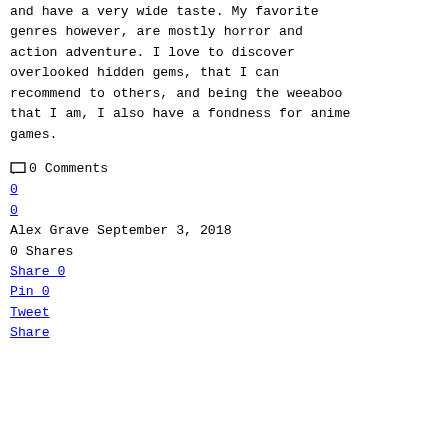and have a very wide taste. My favorite genres however, are mostly horror and action adventure. I love to discover overlooked hidden gems, that I can recommend to others, and being the weeaboo that I am, I also have a fondness for anime games.
0 Comments
0
0
Alex Grave September 3, 2018
0 Shares
Share 0
Pin 0
Tweet
Share